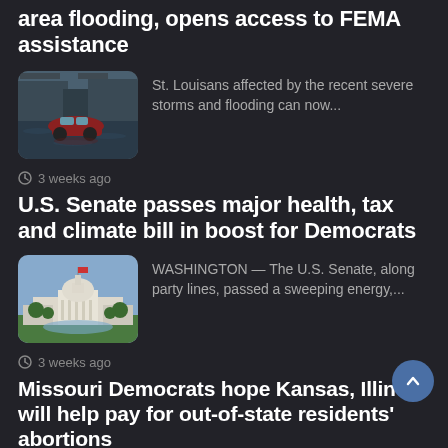area flooding, opens access to FEMA assistance
[Figure (photo): A red car partially submerged in floodwater on a street]
St. Louisans affected by the recent severe storms and flooding can now...
3 weeks ago
U.S. Senate passes major health, tax and climate bill in boost for Democrats
[Figure (photo): Aerial photo of the U.S. Capitol building with surrounding grounds and a clear sky]
WASHINGTON — The U.S. Senate, along party lines, passed a sweeping energy,...
3 weeks ago
Missouri Democrats hope Kansas, Illinois will help pay for out-of-state residents' abortions